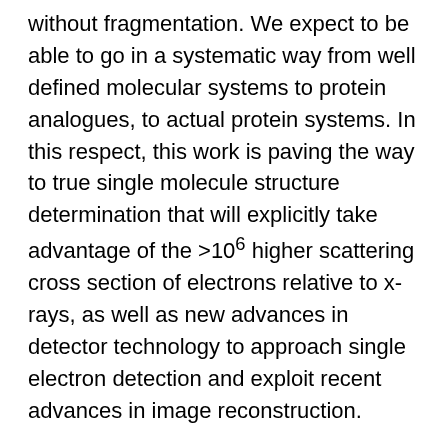without fragmentation.  We expect to be able to go in a systematic way from well defined molecular systems to protein analogues, to actual protein systems.  In this respect, this work is paving the way to true single molecule structure determination that will explicitly take advantage of the >10^6 higher scattering cross section of electrons relative to x-rays, as well as new advances in detector technology to approach single electron detection and exploit recent advances in image reconstruction.
Some of the key problems to be explored will include classic chemical reactions from bond dissociation, ring opening reactions, isomerization, and charge transfer processes, in which the same molecular moiety will be studied in situ in solution phase using the recent development of nanofluidics  (vide infra) for electron probes.  The comparison of the same system with and